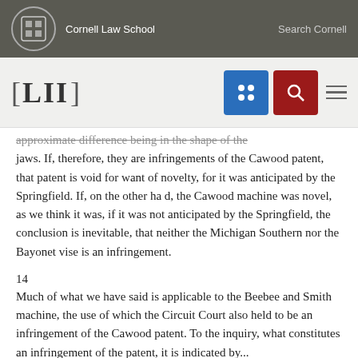Cornell Law School   Search Cornell
[Figure (logo): LII Legal Information Institute navigation bar with blue grid icon, red search icon, and hamburger menu]
approximate difference being in the shape of the jaws. If, therefore, they are infringements of the Cawood patent, that patent is void for want of novelty, for it was anticipated by the Springfield. If, on the other ha d, the Cawood machine was novel, as we think it was, if it was not anticipated by the Springfield, the conclusion is inevitable, that neither the Michigan Southern nor the Bayonet vise is an infringement.
14
Much of what we have said is applicable to the Beebee and Smith machine, the use of which the Circuit Court also held to be an infringement of the Cawood patent. To the inquiry, what constitutes an infringement of the patent, it is indicated by...